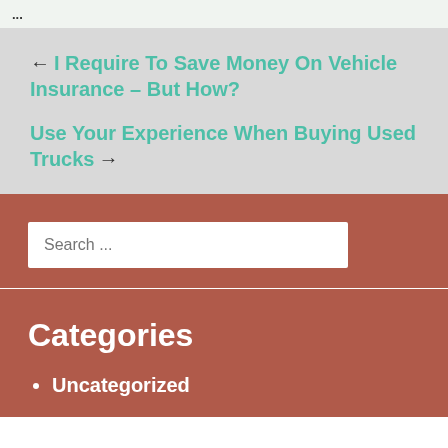...
← I Require To Save Money On Vehicle Insurance – But How?
Use Your Experience When Buying Used Trucks →
Search ...
Categories
Uncategorized